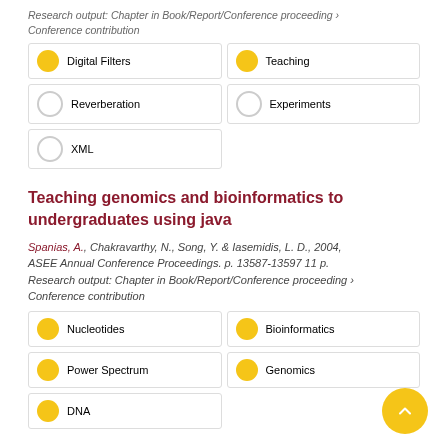Research output: Chapter in Book/Report/Conference proceeding › Conference contribution
Digital Filters
Teaching
Reverberation
Experiments
XML
Teaching genomics and bioinformatics to undergraduates using java
Spanias, A., Chakravarthy, N., Song, Y. & Iasemidis, L. D., 2004, ASEE Annual Conference Proceedings. p. 13587-13597 11 p.
Research output: Chapter in Book/Report/Conference proceeding › Conference contribution
Nucleotides
Bioinformatics
Power Spectrum
Genomics
DNA